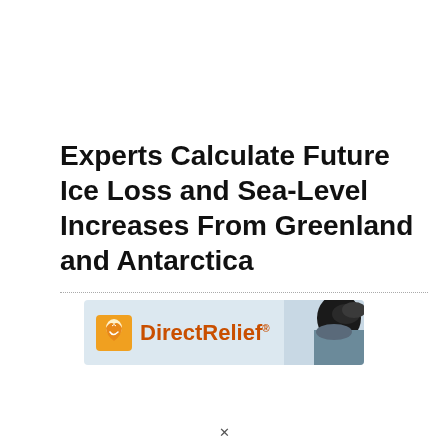Experts Calculate Future Ice Loss and Sea-Level Increases From Greenland and Antarctica
[Figure (logo): DirectRelief advertisement banner with orange logo icon and person's head silhouette on right side]